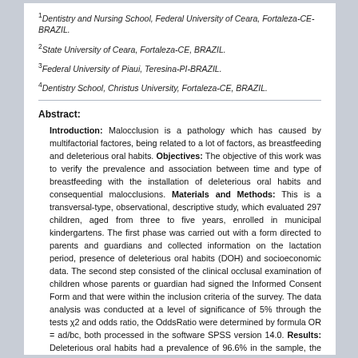1Dentistry and Nursing School, Federal University of Ceara, Fortaleza-CE-BRAZIL.
2State University of Ceara, Fortaleza-CE, BRAZIL.
3Federal University of Piaui, Teresina-PI-BRAZIL.
4Dentistry School, Christus University, Fortaleza-CE, BRAZIL.
Abstract:
Introduction: Malocclusion is a pathology which has caused by multifactorial factores, being related to a lot of factors, as breastfeeding and deleterious oral habits. Objectives: The objective of this work was to verify the prevalence and association between time and type of breastfeeding with the installation of deleterious oral habits and consequential malocclusions. Materials and Methods: This is a transversal-type, observational, descriptive study, which evaluated 297 children, aged from three to five years, enrolled in municipal kindergartens. The first phase was carried out with a form directed to parents and guardians and collected information on the lactation period, presence of deleterious oral habits (DOH) and socioeconomic data. The second step consisted of the clinical occlusal examination of children whose parents or guardian had signed the Informed Consent Form and that were within the inclusion criteria of the survey. The data analysis was conducted at a level of significance of 5% through the tests χ2 and odds ratio, the OddsRatio were determined by formula OR = ad/bc, both processed in the software SPSS version 14.0. Results: Deleterious oral habits had a prevalence of 96.6% in the sample, the average time of exclusive breastfeeding was 4.57 months. The